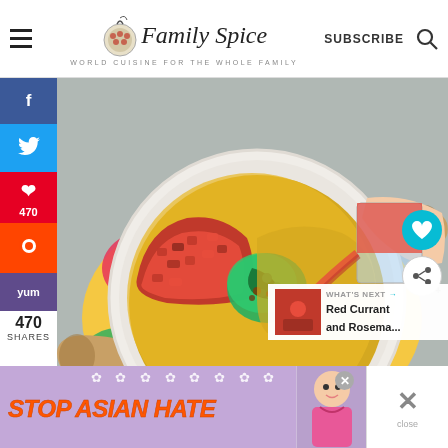Family Spice — World Cuisine for the Whole Family | SUBSCRIBE
[Figure (photo): Overhead view of a white cooking pot with soup ingredients including tomatoes, greens, and broth being poured from a glass measuring cup, placed on a colorful floral textile on a gray stone surface. A hand is visible pouring red tomato broth. A lemon is partially visible at the bottom.]
470
470 SHARES
[Figure (screenshot): What's Next panel showing Red Currant and Rosema... thumbnail with a small food image]
[Figure (photo): Ad banner: STOP ASIAN HATE with illustrated character on purple/lavender background with white flower decorations]